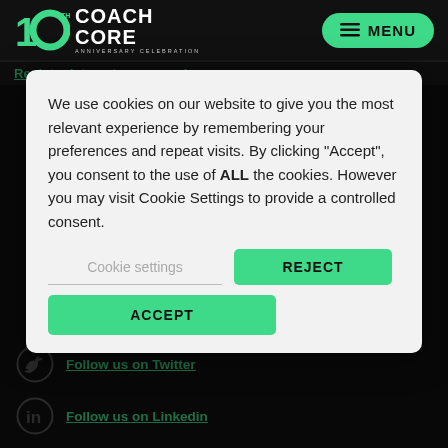[Figure (logo): Coach Core 10th Anniversary Celebration logo with green '10th' numeral and white 'COACH CORE' text]
[Figure (other): Green pill-shaped MENU button with hamburger icon lines]
Register interest as an employer
We use cookies on our website to give you the most relevant experience by remembering your preferences and repeat visits. By clicking “Accept”, you consent to the use of ALL the cookies. However you may visit Cookie Settings to provide a controlled consent.
Cookie settings
REJECT
ACCEPT
Follow us on Twitter
Follow us on Linkedin